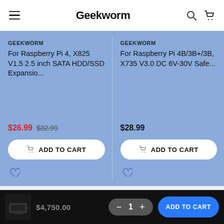Geekworm
GEEKWORM
For Raspberry Pi 4, X825 V1.5 2.5 inch SATA HDD/SSD Expansio...
$26.99  $32.99
GEEKWORM
For Raspberry Pi 4B/3B+/3B, X735 V3.0 DC 6V-30V Safe...
$28.99
Policy & Information
$[price] — 1 — ADD TO CART